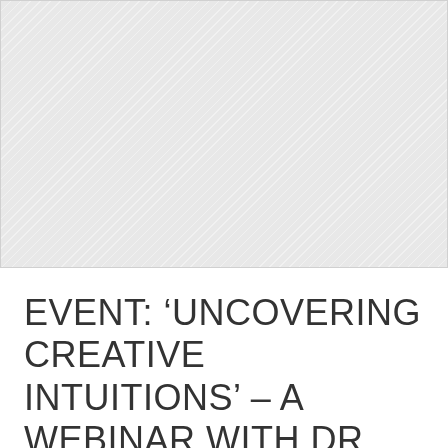[Figure (photo): Large placeholder image area with light grey hatched/diagonal pattern background, occupying the top portion of the page]
EVENT: 'UNCOVERING CREATIVE INTUITIONS' – A WEBINAR WITH DR GILLIAN LAZAR